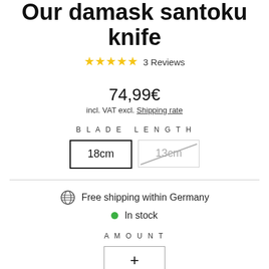Our damask santoku knife
★★★★★ 3 Reviews
74,99€
incl. VAT excl. Shipping rate
BLADE LENGTH
18cm (selected), 13cm (unavailable)
Free shipping within Germany
In stock
AMOUNT